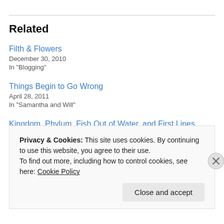Related
Filth & Flowers
December 30, 2010
In "Blogging"
Things Begin to Go Wrong
April 28, 2011
In "Samantha and Will"
Kingdom, Phylum, Fish Out of Water, and First Lines
February 14, 2011
In "Writing"
Privacy & Cookies: This site uses cookies. By continuing to use this website, you agree to their use.
To find out more, including how to control cookies, see here: Cookie Policy
Close and accept